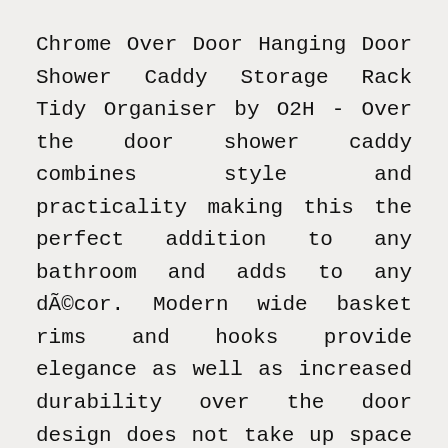Chrome Over Door Hanging Door Shower Caddy Storage Rack Tidy Organiser by O2H - Over the door shower caddy combines style and practicality making this the perfect addition to any bathroom and adds to any décor. Modern wide basket rims and hooks provide elegance as well as increased durability over the door design does not take up space in the bathroom and there is no need to put holes in walls great for tenants or tiled bathroom walls. Quality metal construction is coated with an easy to clean matted brushed nickel finish and resists rusting and chipping. Two deep wire baskets, and 4 total towel hooks for all your shower and bath accessories neatly store your shower and bathroom essentials when not in use and accessibly within reach when needed. 3 tier chrome over door hanging